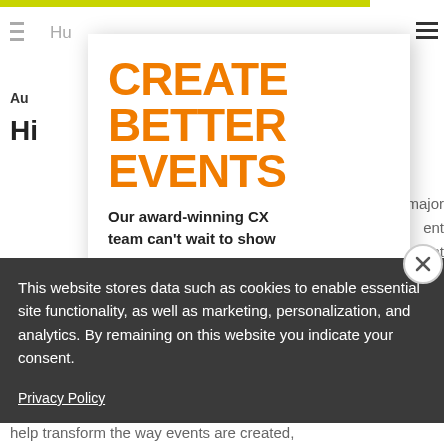Hu [logo]
Au
Hi
[Figure (other): Modal overlay with orange large text: CREATE BETTER EVENTS, and subtitle: Our award-winning CX team can't wait to show]
This website stores data such as cookies to enable essential site functionality, as well as marketing, personalization, and analytics. By remaining on this website you indicate your consent.
Privacy Policy
He  ...major ...ent ...vent ...es ...ilt ...stry. ...ogy ...can help transform the way events are created,